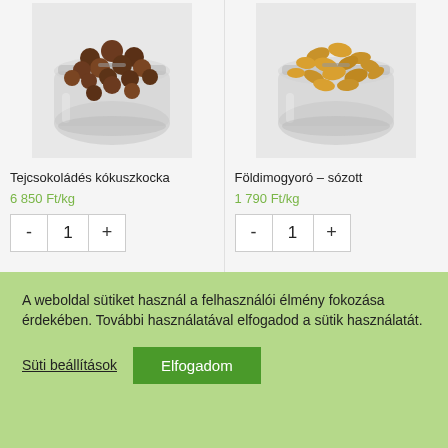[Figure (photo): Glass jar filled with milk chocolate coconut balls on grey background]
[Figure (photo): Glass jar filled with salted peanuts on grey background]
Tejcsokoládés kókuszkocka
6 850 Ft/kg
Földimogyoró – sózott
1 790 Ft/kg
A weboldal sütiket használ a felhasználói élmény fokozása érdekében. További használatával elfogadod a sütik használatát.
Süti beállítások
Elfogadom